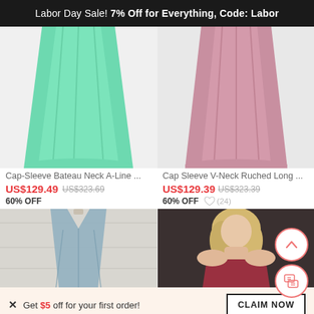Labor Day Sale! 7% Off for Everything, Code: Labor
[Figure (photo): Green mint chiffon bridesmaid dress, A-line style, lower half visible]
[Figure (photo): Pink/mauve long bridesmaid dress, ruched, lower half visible]
Cap-Sleeve Bateau Neck A-Line ...
Cap Sleeve V-Neck Ruched Long ...
US$129.49  US$323.69  60% OFF
US$129.39  US$323.39  60% OFF
[Figure (photo): Blue/grey ruched V-neck bridesmaid dress on mannequin]
[Figure (photo): Blonde woman in strapless dark red/wine dress]
× Get $5 off for your first order!
CLAIM NOW
♡ 18   ADD TO BAG